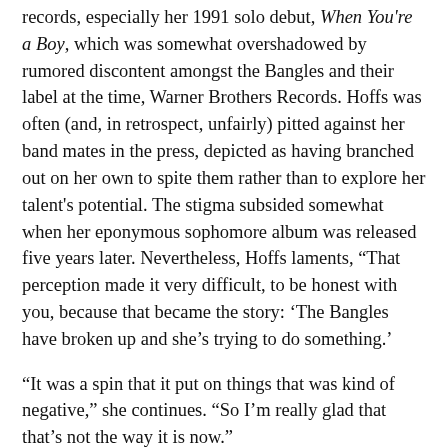records, especially her 1991 solo debut, When You're a Boy, which was somewhat overshadowed by rumored discontent amongst the Bangles and their label at the time, Warner Brothers Records. Hoffs was often (and, in retrospect, unfairly) pitted against her band mates in the press, depicted as having branched out on her own to spite them rather than to explore her talent's potential. The stigma subsided somewhat when her eponymous sophomore album was released five years later. Nevertheless, Hoffs laments, “That perception made it very difficult, to be honest with you, because that became the story: ‘The Bangles have broken up and she’s trying to do something.’
“It was a spin that it put on things that was kind of negative,” she continues. “So I’m really glad that that’s not the way it is now.”
So, what’s changed? “I think it’s partly that you get to be a certain age and you’ve been doing this for a long time, it